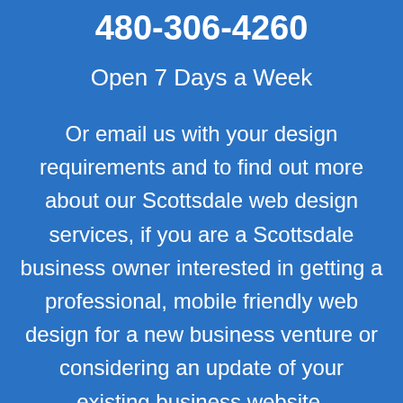480-306-4260
Open 7 Days a Week
Or email us with your design requirements and to find out more about our Scottsdale web design services, if you are a Scottsdale business owner interested in getting a professional, mobile friendly web design for a new business venture or considering an update of your existing business website.